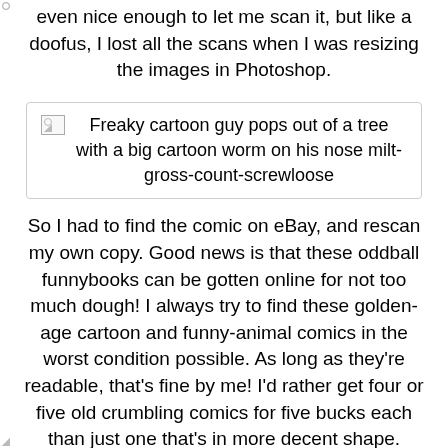even nice enough to let me scan it, but like a doofus, I lost all the scans when I was resizing the images in Photoshop.
[Figure (other): Broken image placeholder with alt text: Freaky cartoon guy pops out of a tree with a big cartoon worm on his nose milt-gross-count-screwloose]
So I had to find the comic on eBay, and rescan my own copy. Good news is that these oddball funnybooks can be gotten online for not too much dough! I always try to find these golden-age cartoon and funny-animal comics in the worst condition possible. As long as they're readable, that's fine by me! I'd rather get four or five old crumbling comics for five bucks each than just one that's in more decent shape. Anyway, here are a few preview panels to get you warmed up...
[Figure (other): Broken image placeholder with alt text: Count Screwloose is scared of Harry the Hoople-Snake insane guy in the background runs with his umbrella]
[Figure (other): Broken image placeholder with alt text: Harry the Hoople-Snake chases after Count Screwloose]